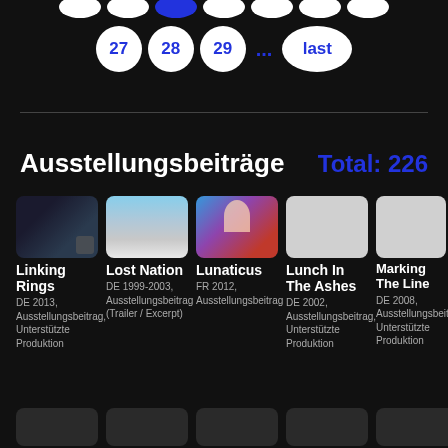[Figure (other): Pagination navigation with circular buttons showing page numbers 27, 28, 29, ..., last with one active (blue filled) circle at top]
Ausstellungsbeiträge    Total: 226
[Figure (other): Grid of movie/exhibition entry cards: Linking Rings (DE 2013, Ausstellungsbeitrag, Unterstützte Produktion), Lost Nation (DE 1999-2003, Ausstellungsbeitrag (Trailer / Excerpt)), Lunaticus (FR 2012, Ausstellungsbeitrag), Lunch In The Ashes (DE 2002, Ausstellungsbeitrag, Unterstützte Produktion), Marking The Line (DE 2008, Ausstellungsbeitrag, Unterstützte Produktion)]
[Figure (other): Partial bottom row of additional cards (cut off)]